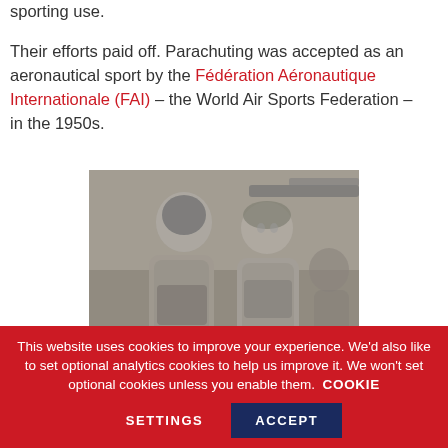sporting use. Their efforts paid off. Parachuting was accepted as an aeronautical sport by the Fédération Aéronautique Internationale (FAI) – the World Air Sports Federation – in the 1950s.
[Figure (photo): Black and white photograph of two people in flight suits/gear standing in front of what appears to be an aircraft]
This website uses cookies to improve your experience. We'd also like to set optional analytics cookies to help us improve it. We won't set optional cookies unless you enable them. COOKIE SETTINGS ACCEPT